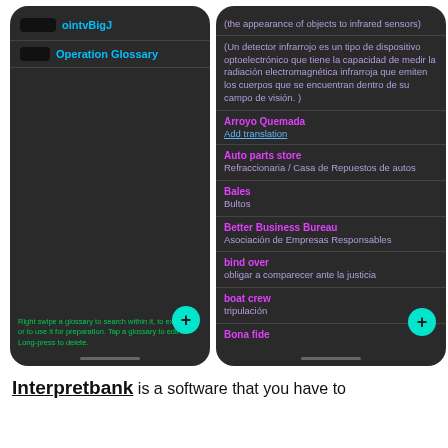[Figure (screenshot): Two mobile phone screenshots side by side showing an app called 'Operation Glossary'. Left screen shows a glossary list with a username 'ointvBigJ' and a glossary titled 'Operation Glossary', with a + FAB button and a hint text about swiping. Right screen shows glossary entries with terms and translations in English/Spanish.]
Interpretbank is a software that you have to